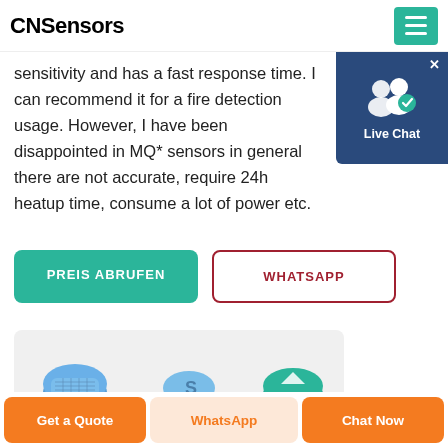CNSensors
sensitivity and has a fast response time. I can recommend it for a fire detection usage. However, I have been disappointed in MQ* sensors in general there are not accurate, require 24h heatup time, consume a lot of power etc.
[Figure (screenshot): Live Chat widget with blue background, people icon with checkmark, and 'Live Chat' label]
PREIS ABRUFEN
WHATSAPP
[Figure (photo): Product area showing gas sensor devices with blue and teal circular sensors on light grey background]
Get a Quote | WhatsApp | Chat Now